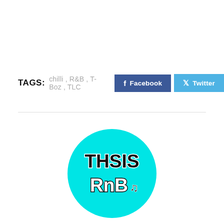TAGS: chilli , R&B , T-Boz , TLC  f Facebook  Twitter
[Figure (logo): ThisisRnB logo: cyan circle with 'THSIS RnB' text and musical note]
ThisisRnB